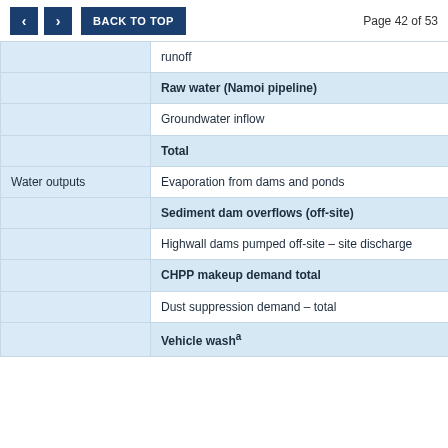Page 42 of 53
|  |  |
| --- | --- |
|  | runoff |
|  | Raw water (Namoi pipeline) |
|  | Groundwater inflow |
|  | Total |
| Water outputs | Evaporation from dams and ponds |
|  | Sediment dam overflows (off-site) |
|  | Highwall dams pumped off-site – site discharge |
|  | CHPP makeup demand total |
|  | Dust suppression demand – total |
|  | Vehicle wash² |